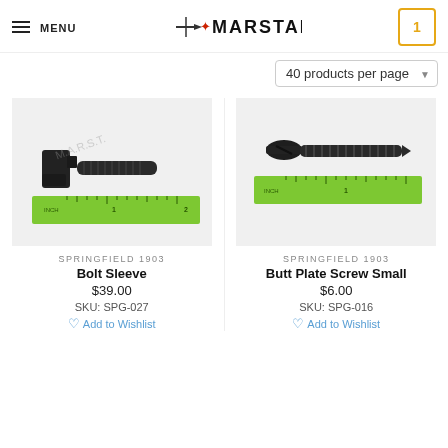MENU | MARSTAR | 1
40 products per page
[Figure (photo): Bolt Sleeve firearm part (black metal) with green ruler showing approximately 2 inches length, watermarked with MARSTAR logo]
SPRINGFIELD 1903
Bolt Sleeve
$39.00
SKU: SPG-027
[Figure (photo): Butt Plate Screw Small firearm part (black metal screw) with green ruler showing approximately 1 inch length]
SPRINGFIELD 1903
Butt Plate Screw Small
$6.00
SKU: SPG-016
Add to Wishlist
Add to Wishlist